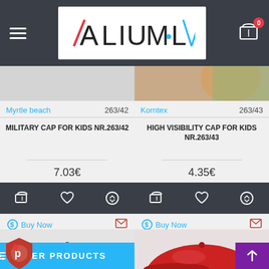[Figure (screenshot): ALIUM.LV e-commerce website header with hamburger menu, logo, and cart icon showing 0 items]
Myrtle beach   263/42
Korntex   263/43
MILITARY CAP FOR KIDS NR.263/42
HIGH VISIBILITY CAP FOR KIDS NR.263/43
7.03€
4.35€
Buy Now
Buy Now
[Figure (photo): Navy blue snapback cap product photo]
[Figure (photo): Red snapback cap product photo]
FILTER PRODUCTS